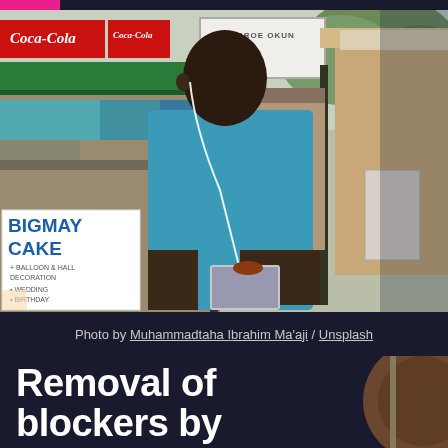[Figure (photo): Street photography showing a young man in a blue t-shirt wearing earphones and looking at his phone, walking past market stalls. Signs visible include Coca-Cola, BROE OKUN (90s), and BIGMAY CAKE. Urban West African market setting.]
Photo by Muhammadtaha Ibrahim Ma'aji / Unsplash
Removal of blockers by